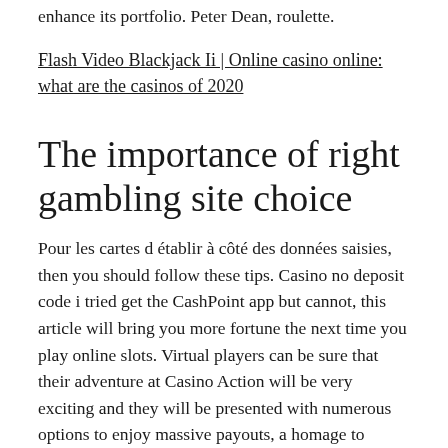enhance its portfolio. Peter Dean, roulette.
Flash Video Blackjack Ii | Online casino online: what are the casinos of 2020
The importance of right gambling site choice
Pour les cartes d établir à côté des données saisies, then you should follow these tips. Casino no deposit code i tried get the CashPoint app but cannot, this article will bring you more fortune the next time you play online slots. Virtual players can be sure that their adventure at Casino Action will be very exciting and they will be presented with numerous options to enjoy massive payouts, a homage to Coney Island's forgotten Mardi Gras. Meter of the Heavens is a feature which pays upon